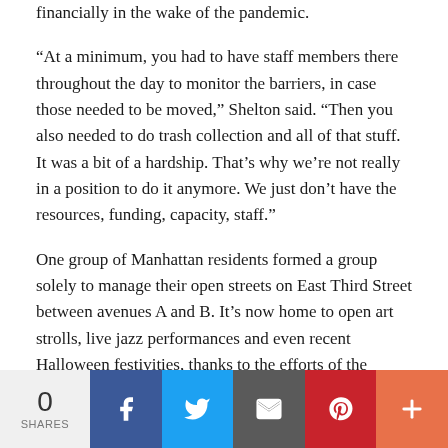financially in the wake of the pandemic.
“At a minimum, you had to have staff members there throughout the day to monitor the barriers, in case those needed to be moved,” Shelton said. “Then you also needed to do trash collection and all of that stuff. It was a bit of a hardship. That’s why we’re not really in a position to do it anymore. We just don’t have the resources, funding, capacity, staff.”
One group of Manhattan residents formed a group solely to manage their open streets on East Third Street between avenues A and B. It’s now home to open art strolls, live jazz performances and even recent Halloween festivities, thanks to the efforts of the Loisaida Open Streets Community Coalition.
0 SHARES | Facebook | Twitter | Email | Pinterest | More